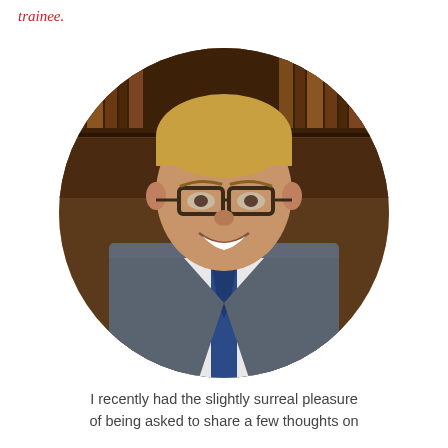trainee.
[Figure (photo): Circular portrait photo of a smiling young man with glasses and blond hair, wearing a grey suit jacket, white shirt, and blue tie, seated in front of a library bookshelf.]
I recently had the slightly surreal pleasure of being asked to share a few thoughts on